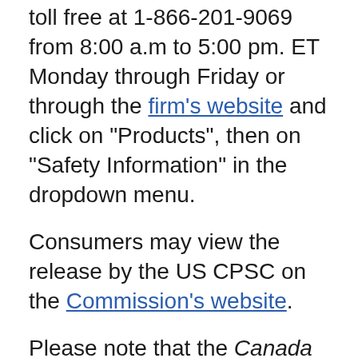contact Midland Industries Corporation toll free at 1-866-201-9069 from 8:00 a.m to 5:00 pm. ET Monday through Friday or through the firm's website and click on "Products", then on "Safety Information" in the dropdown menu.
Consumers may view the release by the US CPSC on the Commission's website.
Please note that the Canada Consumer Product Safety Act prohibits recalled products from being redistributed, sold or even given away in Canada.
Health Canada would like to remind